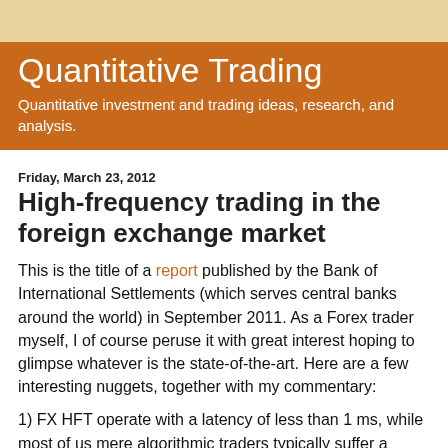Quantitative Trading
Quantitative investment and trading ideas, research, and analysis.
Friday, March 23, 2012
High-frequency trading in the foreign exchange market
This is the title of a report published by the Bank of International Settlements (which serves central banks around the world) in September 2011. As a Forex trader myself, I of course peruse it with great interest hoping to glimpse whatever is the state-of-the-art. Here are a few interesting nuggets, together with my commentary:
1) FX HFT operate with a latency of less than 1 ms, while most of us mere algorithmic traders typically suffer a latency of at least 10ms. For example, Interactive Brokers does not